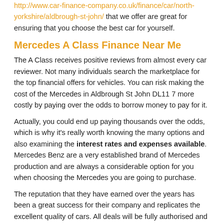http://www.car-finance-company.co.uk/finance/car/north-yorkshire/aldbrough-st-john/ that we offer are great for ensuring that you choose the best car for yourself.
Mercedes A Class Finance Near Me
The A Class receives positive reviews from almost every car reviewer. Not many individuals search the marketplace for the top financial offers for vehicles. You can risk making the cost of the Mercedes in Aldbrough St John DL11 7 more costly by paying over the odds to borrow money to pay for it.
Actually, you could end up paying thousands over the odds, which is why it's really worth knowing the many options and also examining the interest rates and expenses available. Mercedes Benz are a very established brand of Mercedes production and are always a considerable option for you when choosing the Mercedes you are going to purchase.
The reputation that they have earned over the years has been a great success for their company and replicates the excellent quality of cars. All deals will be fully authorised and regulated by the